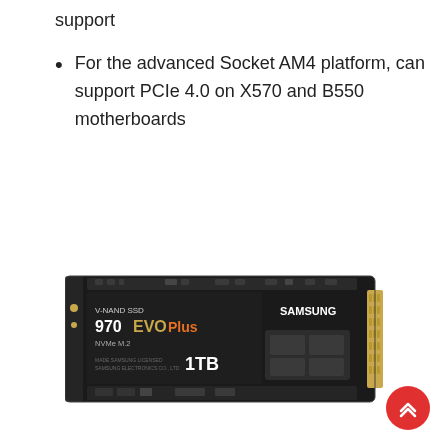support
For the advanced Socket AM4 platform, can support PCIe 4.0 on X570 and B550 motherboards
[Figure (photo): Samsung 970 EVO Plus V-NAND SSD NVMe M.2 1TB product photo showing the black PCB circuit board with gold connectors]
[Figure (other): Red circular scroll-to-top button with double chevron arrow icon]